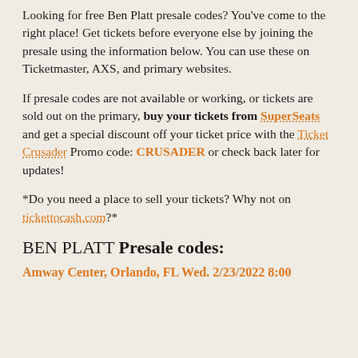Looking for free Ben Platt presale codes? You've come to the right place! Get tickets before everyone else by joining the presale using the information below. You can use these on Ticketmaster, AXS, and primary websites.
If presale codes are not available or working, or tickets are sold out on the primary, buy your tickets from SuperSeats and get a special discount off your ticket price with the Ticket Crusader Promo code: CRUSADER or check back later for updates!
*Do you need a place to sell your tickets? Why not on tickettocash.com?*
BEN PLATT Presale codes:
Amway Center, Orlando, FL Wed. 2/23/2022 8:00